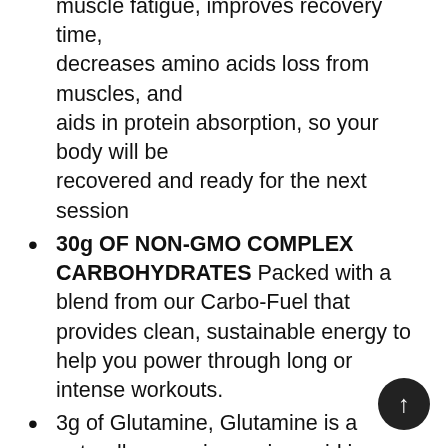muscle fatigue, improves recovery time, decreases amino acids loss from muscles, and aids in protein absorption, so your body will be recovered and ready for the next session
30g OF NON-GMO COMPLEX CARBOHYDRATES Packed with a blend from our Carbo-Fuel that provides clean, sustainable energy to help you power through long or intense workouts.
3g of Glutamine, Glutamine is a naturally occurring amino acid in your body. During intense training, Glutamine levels are greatly depleted, which decreases strength, stamina, and recovery. With 3g of Glutamine in
Hydration Fuel, we keep your levels where they need to be for maximum performance.
RICH IN NUTRIENTS Contains D-Ribose, an ingredient that acts as the motor of the body cells, allowing cells to function at high levels.